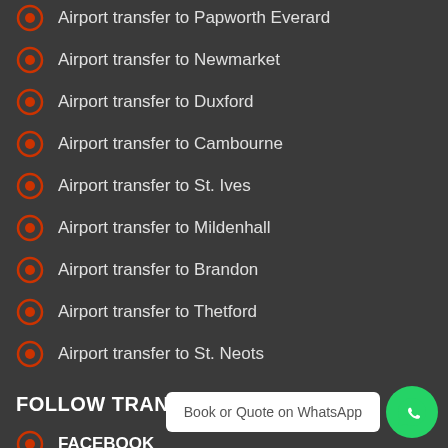Airport transfer to Papworth Everard
Airport transfer to Newmarket
Airport transfer to Duxford
Airport transfer to Cambourne
Airport transfer to St. Ives
Airport transfer to Mildenhall
Airport transfer to Brandon
Airport transfer to Thetford
Airport transfer to St. Neots
FOLLOW TRANSFERS 4U
FACEBOOK
TWITTER
INSTAGRAM
Book or Quote on WhatsApp